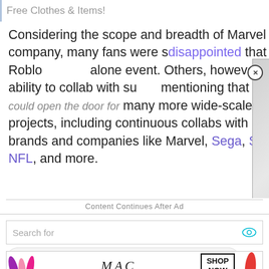Free Clothes & Items!
Considering the scope and breadth of Marvel as a company, many fans were s… disappointed that this Roblox… alone event. Others, however… their ability to collab with su… mentioning that this collab could open the door for many more wide-scale Roblox projects, including continuous collabs with popular brands and companies like Marvel, Sega, Sanrio, the NFL, and more.
[Figure (screenshot): Video overlay showing 'Soulframe' brand logo with play button on a gray textured background with close button]
Content Continues After Ad
[Figure (screenshot): Search bar with 'Search for' placeholder and eye icon]
1 EARN FREE ROBUX ▶
[Figure (photo): MAC lipstick advertisement showing purple, pink, red lipsticks with MAC logo and SHOP NOW button]